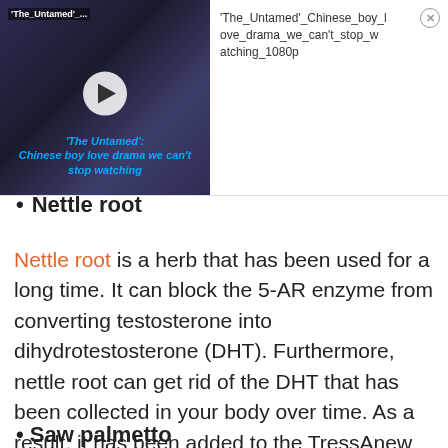[Figure (screenshot): Video thumbnail overlay ad for 'The Untamed' Chinese boy love drama, with play button, blue italic caption, and video title text with close button]
Nettle root
Nettle root is a herb that has been used for a long time. It can block the 5-AR enzyme from converting testosterone into dihydrotestosterone (DHT). Furthermore, nettle root can get rid of the DHT that has been collected in your body over time. As a result, it has been added to the TressAnew ingredients list.
Saw palmetto